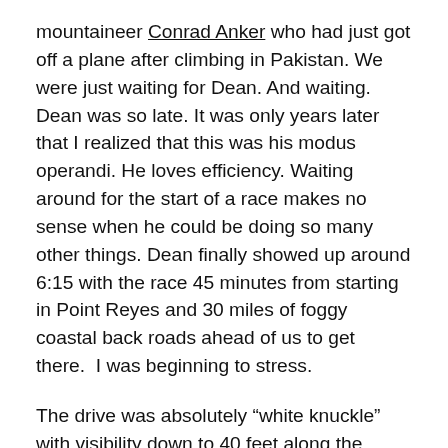mountaineer Conrad Anker who had just got off a plane after climbing in Pakistan. We were just waiting for Dean. And waiting. Dean was so late. It was only years later that I realized that this was his modus operandi. He loves efficiency. Waiting around for the start of a race makes no sense when he could be doing so many other things. Dean finally showed up around 6:15 with the race 45 minutes from starting in Point Reyes and 30 miles of foggy coastal back roads ahead of us to get there.  I was beginning to stress.
The drive was absolutely “white knuckle” with visibility down to 40 feet along the steep curvy roads with the mini van’s tires screeching on every turn. We entered the race parking area as the start gun went off. We chaotically slapped our gear together